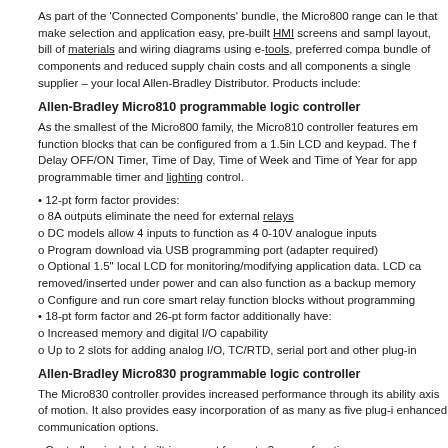As part of the 'Connected Components' bundle, the Micro800 range can le that make selection and application easy, pre-built HMI screens and samp layout, bill of materials and wiring diagrams using e-tools, preferred compa bundle of components and reduced supply chain costs and all components a single supplier – your local Allen-Bradley Distributor. Products include:
Allen-Bradley Micro810 programmable logic controller
As the smallest of the Micro800 family, the Micro810 controller features em function blocks that can be configured from a 1.5in LCD and keypad. The f Delay OFF/ON Timer, Time of Day, Time of Week and Time of Year for app programmable timer and lighting control.
• 12-pt form factor provides:
o 8A outputs eliminate the need for external relays
o DC models allow 4 inputs to function as 4 0-10V analogue inputs
o Program download via USB programming port (adapter required)
o Optional 1.5" local LCD for monitoring/modifying application data. LCD ca removed/inserted under power and can also function as a backup memory
o Configure and run core smart relay function blocks without programming
• 18-pt form factor and 26-pt form factor additionally have:
o Increased memory and digital I/O capability
o Up to 2 slots for adding analog I/O, TC/RTD, serial port and other plug-in
Allen-Bradley Micro830 programmable logic controller
The Micro830 controller provides increased performance through its ability axis of motion. It also provides easy incorporation of as many as five plug-i enhanced communication options.
• Controllers include built-in support for up to 3 axes of motion
o Supports the Relay Train Output (RTO)